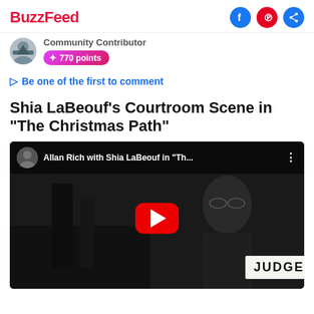BuzzFeed
Community Contributor
770 points
Be one of the first to comment
Shia LaBeouf's Courtroom Scene in "The Christmas Path"
[Figure (screenshot): YouTube video embed showing Allan Rich with Shia LaBeouf in 'Th...' with a red play button and a dark courtroom scene; a JUDGE nameplate is visible in the lower right.]